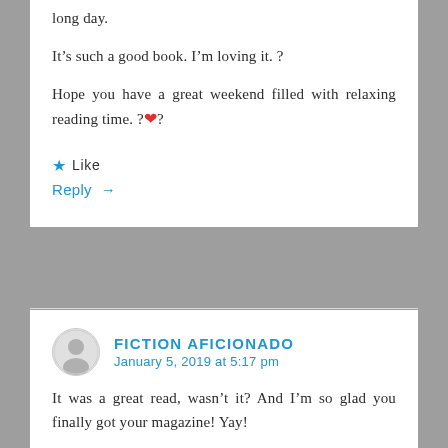long day.
It’s such a good book. I’m loving it. ?
Hope you have a great weekend filled with relaxing reading time. ?❤️?
★ Like
Reply →
FICTION AFICIONADO
January 5, 2019 at 5:17 pm
It was a great read, wasn’t it? And I’m so glad you finally got your magazine! Yay!
I’m featuring a non-fiction book on my blog this